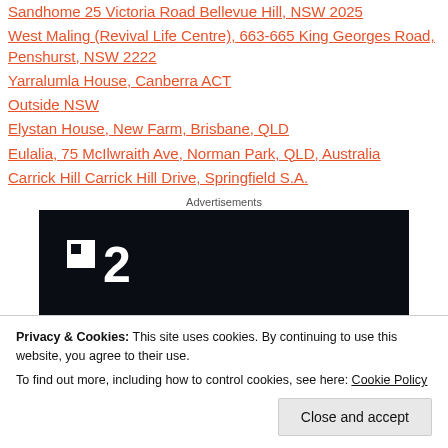Sandhome 25 Victoria Road Bellevue Hill, NSW 2025
West Maling (Revival Life Centre), 663-665 King Georges Road, Penshurst, NSW 2222
Yarralumla House, Canberra ACT
Outside NSW
Elystan House, New Farm, Brisbane, QLD
Eulalia, 75 McIlwraith Ave, Norman Park, QLD, Australia
Carrick Hill Carrick Hill Drive, Springfield S.A.
Advertisements
[Figure (other): Dark advertisement banner with a logo showing a white square icon and the number 2 in white text on a black background]
Privacy & Cookies: This site uses cookies. By continuing to use this website, you agree to their use.
To find out more, including how to control cookies, see here: Cookie Policy